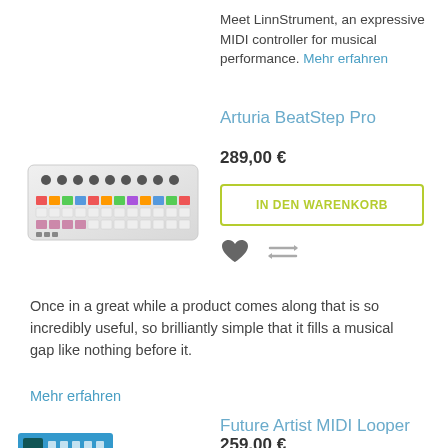Meet LinnStrument, an expressive MIDI controller for musical performance. Mehr erfahren
Arturia BeatStep Pro
[Figure (photo): Photo of Arturia BeatStep Pro MIDI controller, white device with colorful pads and knobs viewed at an angle]
289,00 €
IN DEN WARENKORB
[Figure (other): Heart icon and compare icon]
Once in a great while a product comes along that is so incredibly useful, so brilliantly simple that it fills a musical gap like nothing before it.
Mehr erfahren
Future Artist MIDI Looper
259,00 €